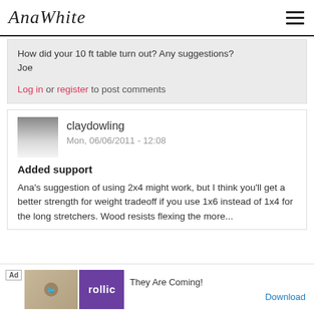AnaWhite
How did your 10 ft table turn out? Any suggestions?
Joe
Log in or register to post comments
claydowling
Mon, 06/06/2011 - 12:08
Added support
Ana's suggestion of using 2x4 might work, but I think you'll get a better strength for weight tradeoff if you use 1x6 instead of 1x4 for the long stretchers. Wood resists flexing the more...
[Figure (screenshot): Advertisement bar at the bottom showing 'Ad' label, an image placeholder, Rollic purple logo, 'They Are Coming!' text and a Download button.]